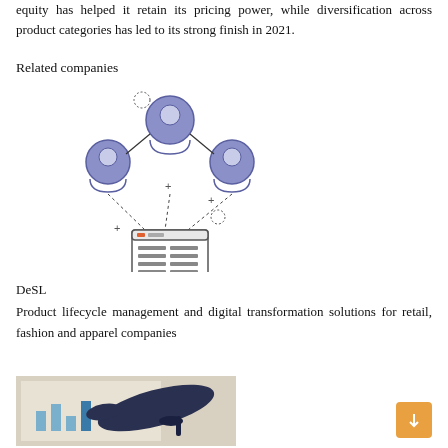equity has helped it retain its pricing power, while diversification across product categories has led to its strong finish in 2021.
Related companies
[Figure (illustration): Network diagram showing three person icons connected to a central node at top, with dashed lines pointing down to a document/webpage icon below. Plus signs and dotted circle icons scattered around.]
DeSL
Product lifecycle management and digital transformation solutions for retail, fashion and apparel companies
[Figure (photo): Photo of a pair of dark navy blue high heel shoes placed on top of papers/documents with charts, suggesting fashion/retail business context.]